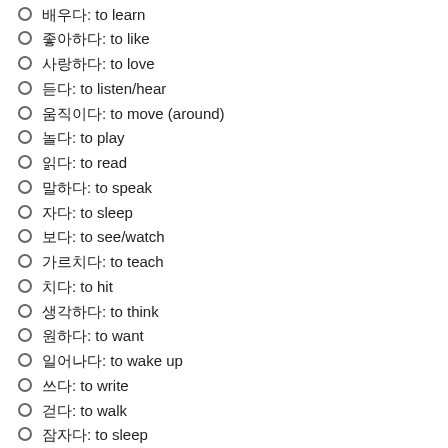배우다: to learn
좋아하다: to like
사랑하다: to love
듣다: to listen/hear
움직이다: to move (around)
놀다: to play
읽다: to read
말하다: to speak
자다: to sleep
보다: to see/watch
가르치다: to teach
치다: to hit
생각하다: to think
원하다: to want
일어나다: to wake up
쓰다: to write
걷다: to walk
잠자다: to sleep
아름답다: to be beautiful